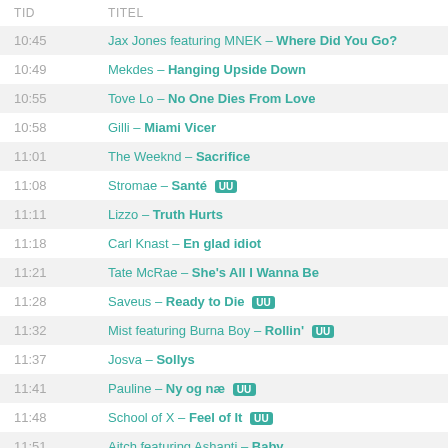| TID | TITEL |
| --- | --- |
| 10:45 | Jax Jones featuring MNEK – Where Did You Go? |
| 10:49 | Mekdes – Hanging Upside Down |
| 10:55 | Tove Lo – No One Dies From Love |
| 10:58 | Gilli – Miami Vicer |
| 11:01 | The Weeknd – Sacrifice |
| 11:08 | Stromae – Santé UU |
| 11:11 | Lizzo – Truth Hurts |
| 11:18 | Carl Knast – En glad idiot |
| 11:21 | Tate McRae – She's All I Wanna Be |
| 11:28 | Saveus – Ready to Die UU |
| 11:32 | Mist featuring Burna Boy – Rollin' UU |
| 11:37 | Josva – Sollys |
| 11:41 | Pauline – Ny og næ UU |
| 11:48 | School of X – Feel of It UU |
| 11:51 | Aitch featuring Ashanti – Baby |
| 11:57 | Calvin Harris, Dua Lipa & Young Thug – Potion |